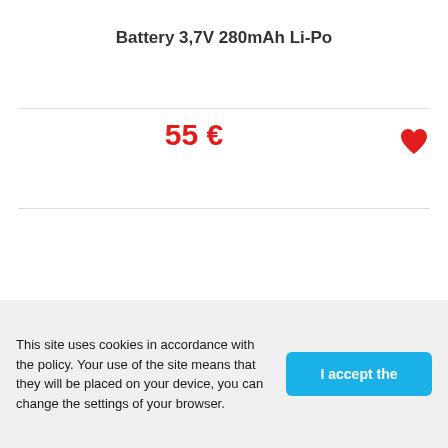Battery 3,7V 280mAh Li-Po
55 €
[Figure (illustration): Red heart/favorite icon]
This site uses cookies in accordance with the policy. Your use of the site means that they will be placed on your device, you can change the settings of your browser.
I accept the